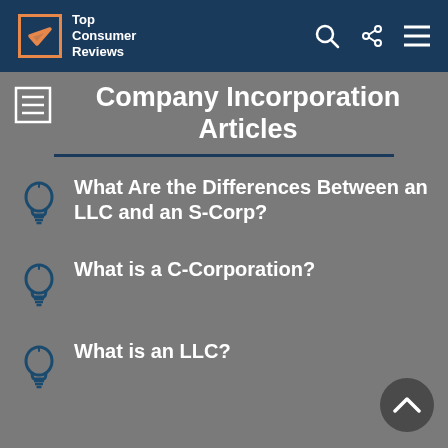Top Consumer Reviews
Company Incorporation Articles
What Are the Differences Between an LLC and an S-Corp?
What is a C-Corporation?
What is an LLC?